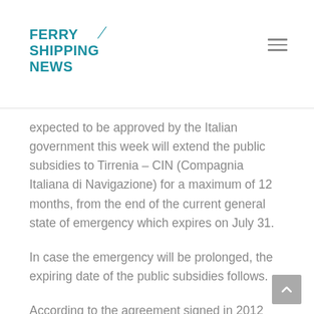FERRY SHIPPING NEWS
expected to be approved by the Italian government this week will extend the public subsidies to Tirrenia – CIN (Compagnia Italiana di Navigazione) for a maximum of 12 months, from the end of the current general state of emergency which expires on July 31.
In case the emergency will be prolonged, the expiring date of the public subsidies follows.
According to the agreement signed in 2012 (when Moby purchased the